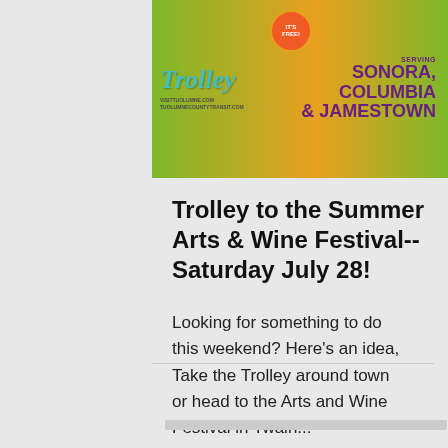[Figure (illustration): Trolley advertisement banner with colorful green/orange background, cursive 'Trolley' text in teal, 'IT'S FREE!' badge, website URLs visittuolumne.com and tuolumnecountytransit.com, and text reading 'SONORA, COLUMBIA & JAMESTOWN']
Trolley to the Summer Arts & Wine Festival-- Saturday July 28!
Looking for something to do this weekend? Here's an idea, Take the Trolley around town or head to the Arts and Wine Festival in Twain...